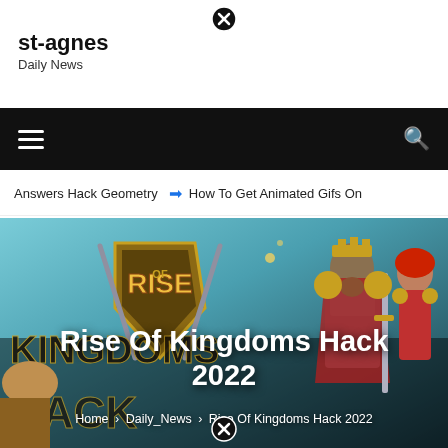[Figure (other): Close button (X circle icon) at top center]
st-agnes
Daily News
[Figure (other): Black navigation bar with hamburger menu icon on left and search icon on right]
Answers Hack Geometry  ➡  How To Get Animated Gifs On
[Figure (photo): Hero image showing Rise of Kingdoms Hack 2022 game artwork with fantasy characters (knights, royalty) and game logo shield. Overlaid white bold text reads 'Rise Of Kingdoms Hack 2022'. Breadcrumb at bottom: Home > Daily_News > Rise Of Kingdoms Hack 2022. Close button at very bottom center.]